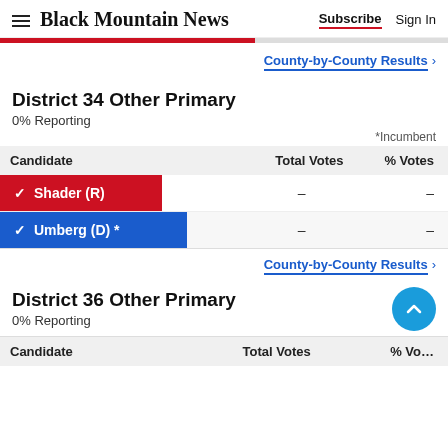Black Mountain News  Subscribe  Sign In
District 34 Other Primary
0% Reporting
*Incumbent
| Candidate | Total Votes | % Votes |
| --- | --- | --- |
| ✓ Shader (R) | – | – |
| ✓ Umberg (D) * | – | – |
County-by-County Results ›
District 36 Other Primary
0% Reporting
Candidate  Total Votes  % Votes